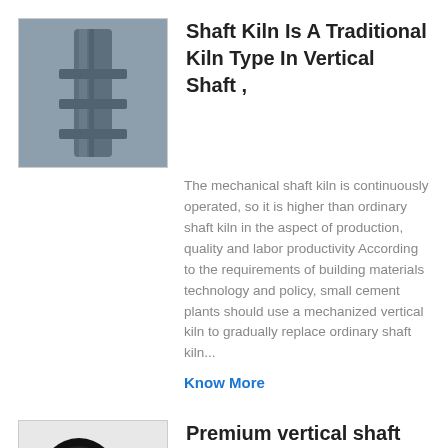[Figure (photo): Thumbnail image of a shaft kiln, dark metallic industrial equipment]
Shaft Kiln Is A Traditional Kiln Type In Vertical Shaft ,
The mechanical shaft kiln is continuously operated, so it is higher than ordinary shaft kiln in the aspect of production, quality and labor productivity According to the requirements of building materials technology and policy, small cement plants should use a mechanized vertical kiln to gradually replace ordinary shaft kiln...
Know More
[Figure (photo): Thumbnail image of vertical shaft calcining kiln industrial parts and components]
Premium vertical shaft calcining kiln For Industries ,
Cement Vertical Shaft Kiln is used for making of cement clinker and there are dry and wet methods to make cement 2 Metallurgy chemical Vertical Shaft Kiln is